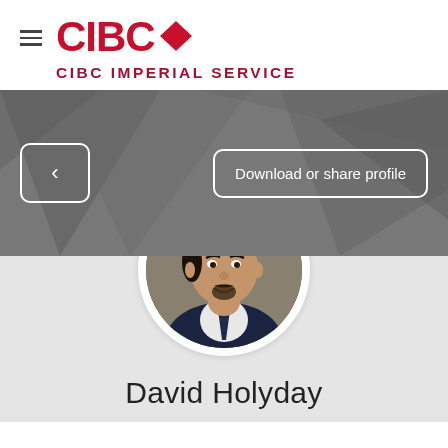CIBC IMPERIAL SERVICE
[Figure (screenshot): CIBC logo with red text CIBC and a diamond shape icon]
[Figure (photo): Circular profile photo of David Holyday, a man in a dark suit with a navy tie, smiling]
Download or share profile
David Holyday